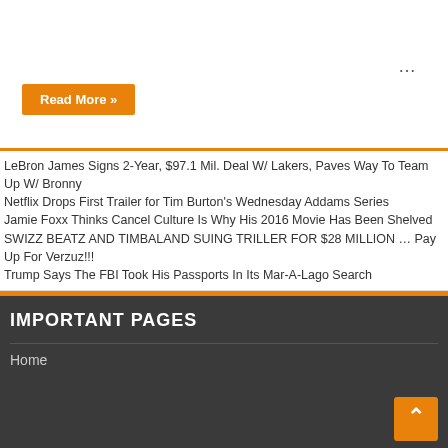...
Read More »
LeBron James Signs 2-Year, $97.1 Mil. Deal W/ Lakers, Paves Way To Team Up W/ Bronny
Netflix Drops First Trailer for Tim Burton's Wednesday Addams Series
Jamie Foxx Thinks Cancel Culture Is Why His 2016 Movie Has Been Shelved
SWIZZ BEATZ AND TIMBALAND SUING TRILLER FOR $28 MILLION … Pay Up For Verzuz!!!
Trump Says The FBI Took His Passports In Its Mar-A-Lago Search
IMPORTANT PAGES
Home